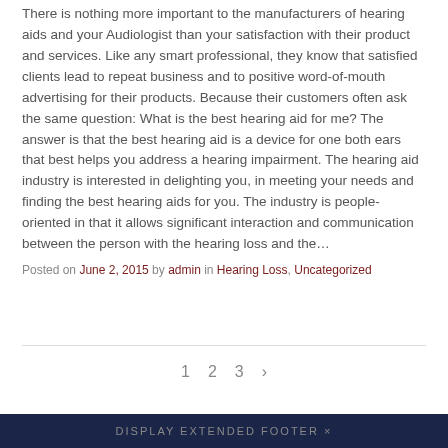There is nothing more important to the manufacturers of hearing aids and your Audiologist than your satisfaction with their product and services. Like any smart professional, they know that satisfied clients lead to repeat business and to positive word-of-mouth advertising for their products. Because their customers often ask the same question: What is the best hearing aid for me? The answer is that the best hearing aid is a device for one both ears that best helps you address a hearing impairment. The hearing aid industry is interested in delighting you, in meeting your needs and finding the best hearing aids for you. The industry is people-oriented in that it allows significant interaction and communication between the person with the hearing loss and the…
Posted on June 2, 2015 by admin in Hearing Loss, Uncategorized
CONTINUE READING ›
1  2  3  ›
DISPLAY EXTENDED FOOTER ×